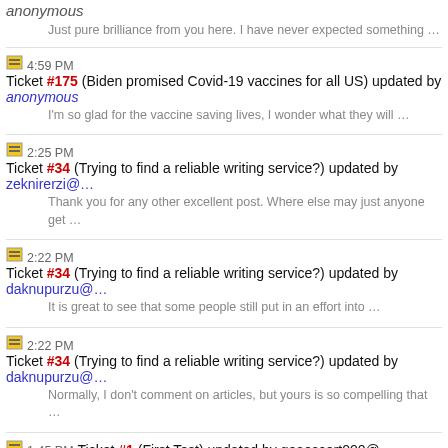anonymous
Just pure brilliance from you here. I have never expected something …
4:59 PM Ticket #175 (Biden promised Covid-19 vaccines for all US) updated by anonymous
I'm so glad for the vaccine saving lives, I wonder what they will …
2:25 PM Ticket #34 (Trying to find a reliable writing service?) updated by zeknirerzi@…
Thank you for any other excellent post. Where else may just anyone get …
2:22 PM Ticket #34 (Trying to find a reliable writing service?) updated by daknupurzu@…
It is great to see that some people still put in an effort into …
2:22 PM Ticket #34 (Trying to find a reliable writing service?) updated by daknupurzu@…
Normally, I don't comment on articles, but yours is so compelling that …
1:45 PM Ticket #1 (First Test) updated by goaoscort000@…